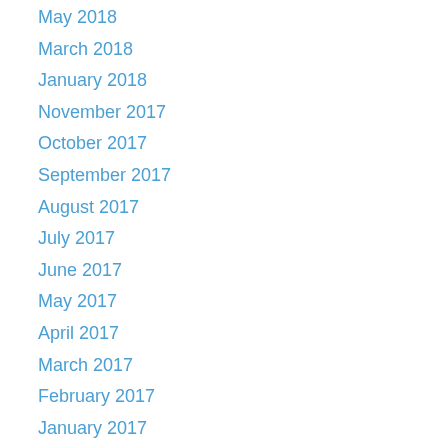May 2018
March 2018
January 2018
November 2017
October 2017
September 2017
August 2017
July 2017
June 2017
May 2017
April 2017
March 2017
February 2017
January 2017
December 2016
November 2016
October 2016
September 2016
August 2016
July 2016